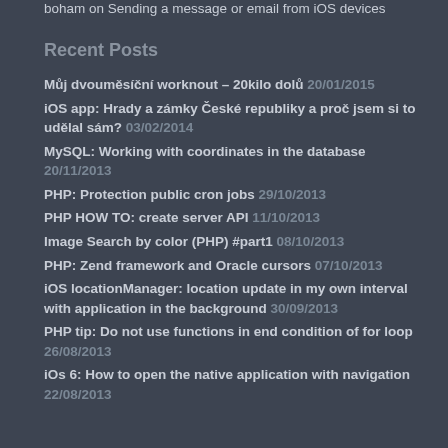boham on Sending a message or email from iOS devices
Recent Posts
Můj dvouměsíční worknout – 20kilo dolů 20/01/2015
iOS app: Hrady a zámky České republiky a proč jsem si to udělal sám? 03/02/2014
MySQL: Working with coordinates in the database 20/11/2013
PHP: Protection public cron jobs 29/10/2013
PHP HOW TO: create server API 11/10/2013
Image Search by color (PHP) #part1 08/10/2013
PHP: Zend framework and Oracle cursors 07/10/2013
iOS locationManager: location update in my own interval with application in the background 30/09/2013
PHP tip: Do not use functions in end condition of for loop 26/08/2013
iOs 6: How to open the native application with navigation 22/08/2013